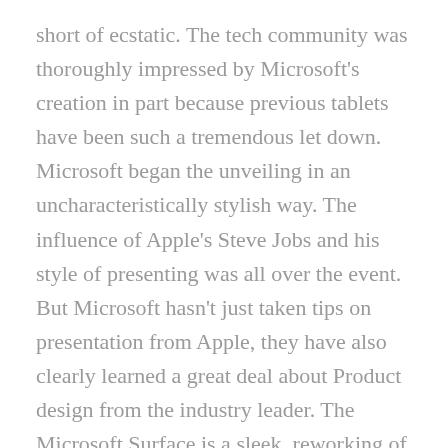short of ecstatic. The tech community was thoroughly impressed by Microsoft's creation in part because previous tablets have been such a tremendous let down. Microsoft began the unveiling in an uncharacteristically stylish way. The influence of Apple's Steve Jobs and his style of presenting was all over the event. But Microsoft hasn't just taken tips on presentation from Apple, they have also clearly learned a great deal about Product design from the industry leader. The Microsoft Surface is a sleek, reworking of the entire tablet concept. In some ways it accepts the traditional patterns of tablet design and in other ways, its entirely revolutionary.
The Microsoft Surface is encased in a magnesium frame; the first tablet to be shelled in such a material. This makes the design rigid, sturdy and polished.